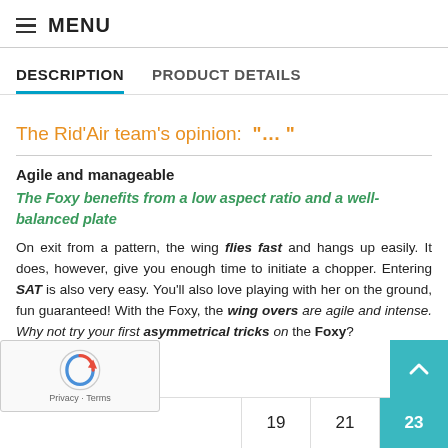≡ MENU
DESCRIPTION   PRODUCT DETAILS
The Rid'Air team's opinion: "… "
Agile and manageable
The Foxy benefits from a low aspect ratio and a well-balanced plate
On exit from a pattern, the wing flies fast and hangs up easily. It does, however, give you enough time to initiate a chopper. Entering SAT is also very easy. You'll also love playing with her on the ground, fun guaranteed! With the Foxy, the wing overs are agile and intense. Why not try your first asymmetrical tricks on the Foxy?
…al data
|  | 19 | 21 | 23 |
| --- | --- | --- | --- |